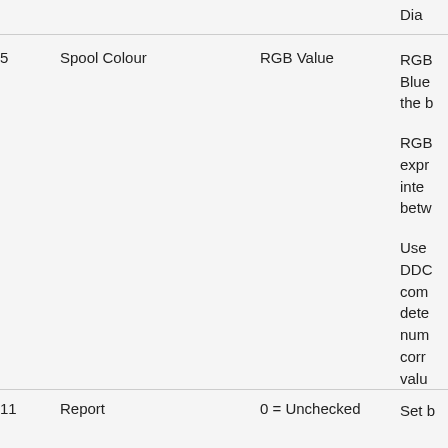| # | Name | Value | Description |
| --- | --- | --- | --- |
| 5 | Spool Colour | RGB Value | RGB Blue the b

RGB expr inte betw

Use DDC com dete num corr valu |
| 11 | Report | 0 = Unchecked | Set b |